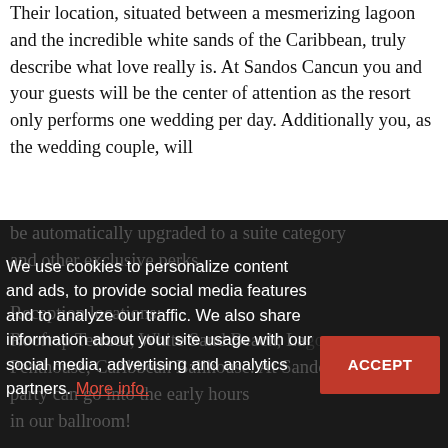Their location, situated between a mesmerizing lagoon and the incredible white sands of the Caribbean, truly describe what love really is. At Sandos Cancun you and your guests will be the center of attention as the resort only performs one wedding per day. Additionally you, as the wedding couple, will be automatically upgraded to a suite category and other exclusive perks.
Reception locations: Rooftop Terrace, White Sand Beach, Lagoon Penthouse, Caribbean Ballhouse. At Sandos party can go into the early hours in our ballroom!
We use cookies to personalize content and ads, to provide social media features and to analyze our traffic. We also share information about your site usage with our social media, advertising and analytics partners. More info.